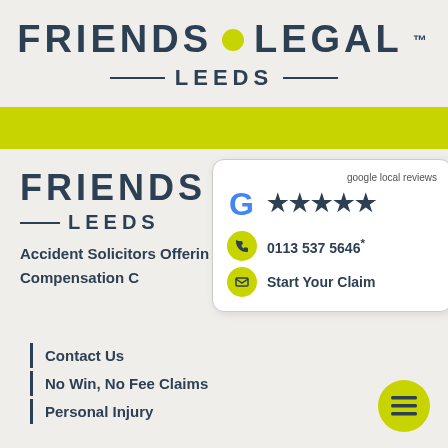[Figure (logo): Friends Legal Leeds logo with yellow dot between FRIENDS and LEGAL, and LEEDS text below with decorative lines]
[Figure (logo): Second Friends Legal Leeds logo partially visible, overlaid by Google local reviews card showing 5 stars, phone number 0113 537 5646, and Start Your Claim button]
Accident Solicitors Offering Compensation C
google local reviews
★★★★★
0113 537 5646
Start Your Claim
Contact Us
No Win, No Fee Claims
Personal Injury